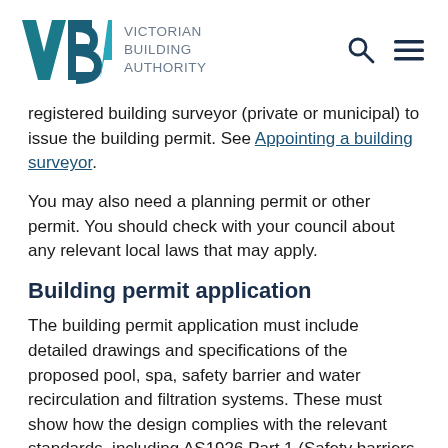Victorian Building Authority
registered building surveyor (private or municipal) to issue the building permit. See Appointing a building surveyor.
You may also need a planning permit or other permit. You should check with your council about any relevant local laws that may apply.
Building permit application
The building permit application must include detailed drawings and specifications of the proposed pool, spa, safety barrier and water recirculation and filtration systems. These must show how the design complies with the relevant standards, including AS1926 Part 1 (Safety barriers for swimming pools).